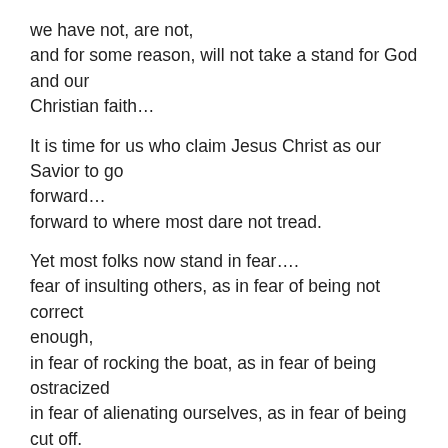we have not, are not,
and for some reason, will not take a stand for God and our Christian faith…
It is time for us who claim Jesus Christ as our Savior to go forward…
forward to where most dare not tread.
Yet most folks now stand in fear….
fear of insulting others, as in fear of being not correct enough,
in fear of rocking the boat, as in fear of being ostracized
in fear of alienating ourselves, as in fear of being cut off.
in fear of drawing attention, as in fear of drawing the ire of the Muslim world.
as the fears continue on and on….